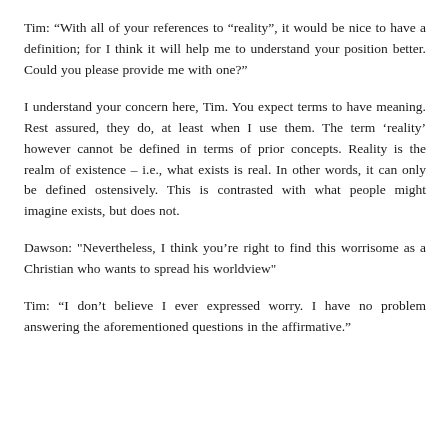Tim: “With all of your references to "reality", it would be nice to have a definition; for I think it will help me to understand your position better. Could you please provide me with one?”
I understand your concern here, Tim. You expect terms to have meaning. Rest assured, they do, at least when I use them. The term ‘reality’ however cannot be defined in terms of prior concepts. Reality is the realm of existence – i.e., what exists is real. In other words, it can only be defined ostensively. This is contrasted with what people might imagine exists, but does not.
Dawson: "Nevertheless, I think you're right to find this worrisome as a Christian who wants to spread his worldview"
Tim: “I don’t believe I ever expressed worry. I have no problem answering the aforementioned questions in the affirmative.”